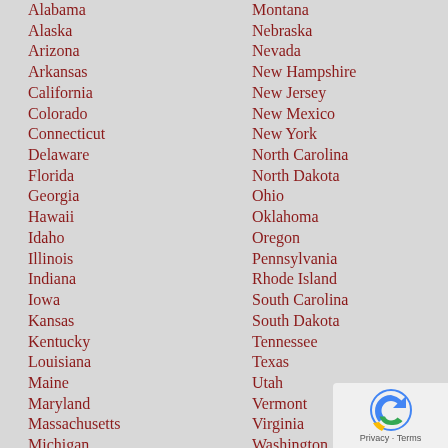Alabama
Alaska
Arizona
Arkansas
California
Colorado
Connecticut
Delaware
Florida
Georgia
Hawaii
Idaho
Illinois
Indiana
Iowa
Kansas
Kentucky
Louisiana
Maine
Maryland
Massachusetts
Michigan
Minnesota
Montana
Nebraska
Nevada
New Hampshire
New Jersey
New Mexico
New York
North Carolina
North Dakota
Ohio
Oklahoma
Oregon
Pennsylvania
Rhode Island
South Carolina
South Dakota
Tennessee
Texas
Utah
Vermont
Virginia
Washington
West Virginia